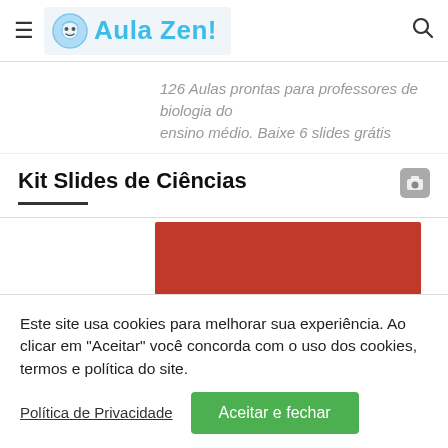Aula Zen!
126 Aulas prontas para professores de biologia do ensino médio. Baixe 6 slides grátis
Kit Slides de Ciências
[Figure (photo): Red/dark red rectangular image block, partially visible]
Este site usa cookies para melhorar sua experiência. Ao clicar em "Aceitar" você concorda com o uso dos cookies, termos e política do site.
Política de Privacidade   Aceitar e fechar